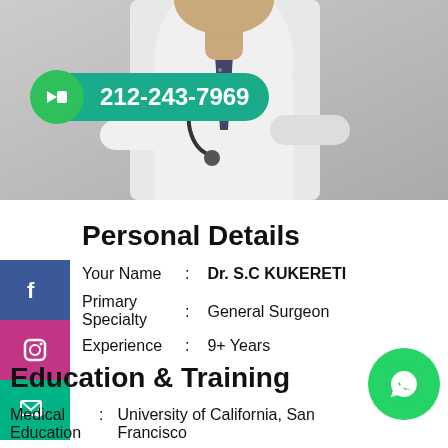[Figure (photo): Doctor in white coat with stethoscope, arms crossed, with phone number badge 212-243-7969 and video camera icon overlay]
Personal Details
Your Name : Dr. S.C KUKERETI
Primary Specialty : General Surgeon
Experience : 9+ Years
Education & Training
Medical Education : University of California, San Francisco